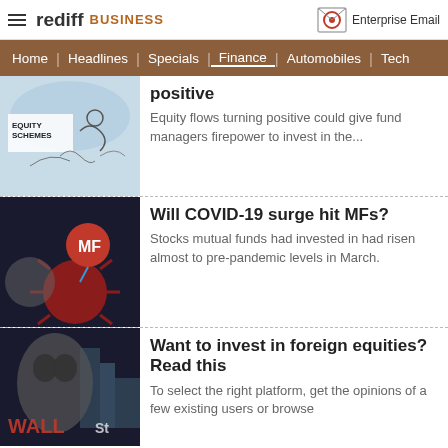rediff BUSINESS | Enterprise Email
Home | Headlines | Specials | Finance | Automobiles | Tech
[Figure (illustration): Cartoon illustration with 'EQUITY SCHEMES' text and animated characters in a sketch style]
positive
Equity flows turning positive could give fund managers firepower to invest in the...
[Figure (illustration): COVID-19 virus illustration with MF balloon/logo in red and blue]
Will COVID-19 surge hit MFs?
Stocks mutual funds had invested in had risen almost to pre-pandemic levels in March.
[Figure (illustration): Wall Street themed illustration with a person's face overlay]
Want to invest in foreign equities? Read this
To select the right platform, get the opinions of a few existing users or browse